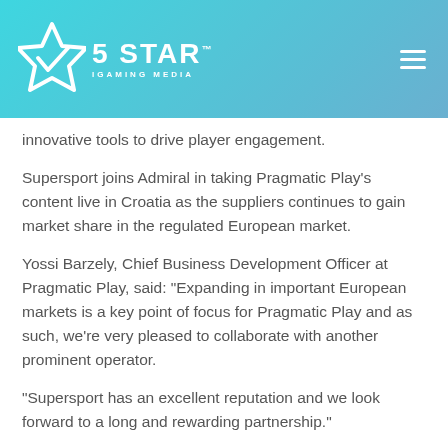5 STAR iGAMING MEDIA
innovative tools to drive player engagement.
Supersport joins Admiral in taking Pragmatic Play's content live in Croatia as the suppliers continues to gain market share in the regulated European market.
Yossi Barzely, Chief Business Development Officer at Pragmatic Play, said: “Expanding in important European markets is a key point of focus for Pragmatic Play and as such, we’re very pleased to collaborate with another prominent operator.
“Supersport has an excellent reputation and we look forward to a long and rewarding partnership.”
Tugomil Cerovecki, Head of Casino at Supersport.hr, said: “Pragmatic Play’s slot offering is one of the leading portfolios in the iGaming industry and we’re delighted to roll it out on our online casino.
“With popular content and an impressive